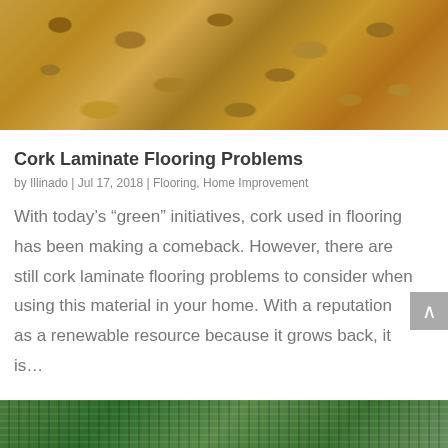[Figure (photo): Close-up photograph of cork material showing a rough, granular golden-brown texture with irregular chunks and fragments]
Cork Laminate Flooring Problems
by Illinado | Jul 17, 2018 | Flooring, Home Improvement
With today’s “green” initiatives, cork used in flooring has been making a comeback. However, there are still cork laminate flooring problems to consider when using this material in your home. With a reputation as a renewable resource because it grows back, it is…
[Figure (photo): Partially visible photograph at the bottom showing green tones, likely bamboo or green flooring material]